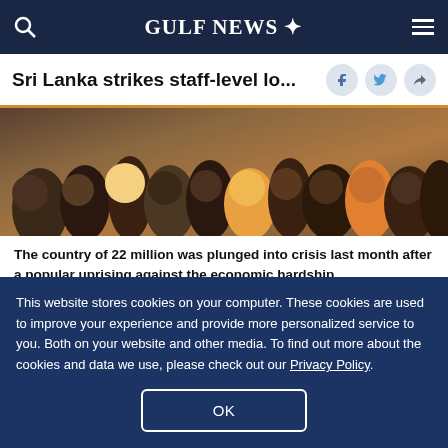GULF NEWS
Sri Lanka strikes staff-level lo...
[Figure (photo): A crowd of people, depicting the popular uprising in Sri Lanka against economic hardship.]
The country of 22 million was plunged into crisis last month after a popular uprising against the economic hardship.
Image Credit: Reuters
Colombo: Sri Lanka and the International Monetary
This website stores cookies on your computer. These cookies are used to improve your experience and provide more personalized service to you. Both on your website and other media. To find out more about the cookies and data we use, please check out our Privacy Policy.